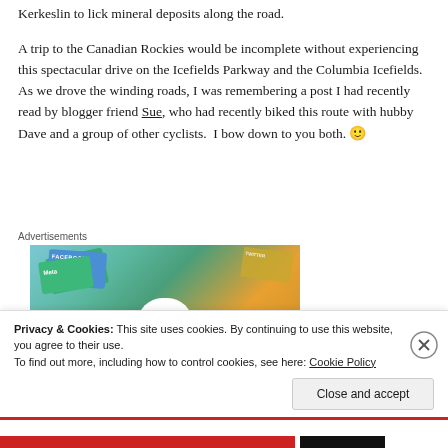Kerkeslin to lick mineral deposits along the road.
A trip to the Canadian Rockies would be incomplete without experiencing this spectacular drive on the Icefields Parkway and the Columbia Icefields.  As we drove the winding roads, I was remembering a post I had recently read by blogger friend Sue, who had recently biked this route with hubby Dave and a group of other cyclists.  I bow down to you both. 🙂
[Figure (photo): Advertisement banner showing Meta, Facebook and other social media branded cards]
Privacy & Cookies: This site uses cookies. By continuing to use this website, you agree to their use.
To find out more, including how to control cookies, see here: Cookie Policy
Close and accept